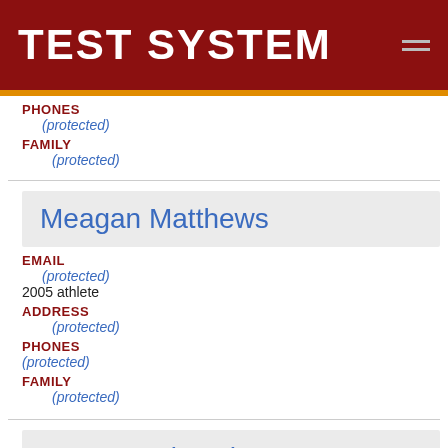TEST SYSTEM
PHONES
(protected)
FAMILY
(protected)
Meagan Matthews
EMAIL
(protected)
2005 athlete
ADDRESS
(protected)
PHONES
(protected)
FAMILY
(protected)
Harper Mcintosh